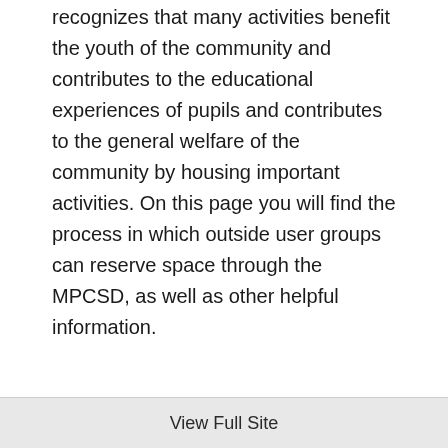recognizes that many activities benefit the youth of the community and contributes to the educational experiences of pupils and contributes to the general welfare of the community by housing important activities. On this page you will find the process in which outside user groups can reserve space through the MPCSD, as well as other helpful information.
View Full Site